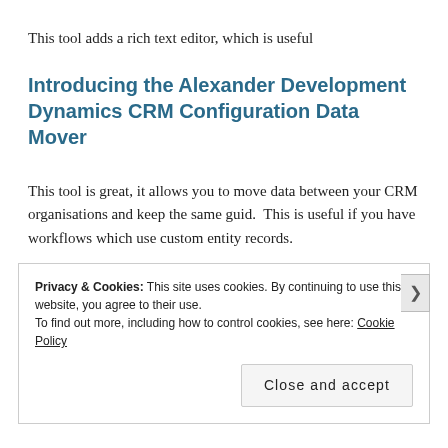This tool adds a rich text editor, which is useful
Introducing the Alexander Development Dynamics CRM Configuration Data Mover
This tool is great, it allows you to move data between your CRM organisations and keep the same guid.  This is useful if you have workflows which use custom entity records.
Privacy & Cookies: This site uses cookies. By continuing to use this website, you agree to their use.
To find out more, including how to control cookies, see here: Cookie Policy
Close and accept